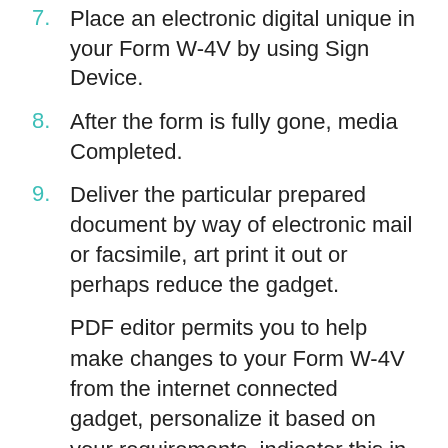7. Place an electronic digital unique in your Form W-4V by using Sign Device.
8. After the form is fully gone, media Completed.
9. Deliver the particular prepared document by way of electronic mail or facsimile, art print it out or perhaps reduce the gadget.
PDF editor permits you to help make changes to your Form W-4V from the internet connected gadget, personalize it based on your requirements, indicator this in electronic format and also disperse differently.
Video instructions - Highlight In Form W-4V